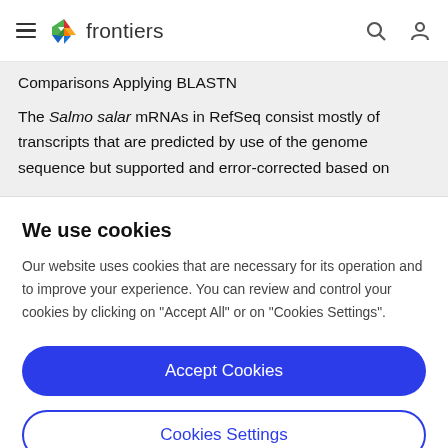frontiers
Comparisons Applying BLASTN
The Salmo salar mRNAs in RefSeq consist mostly of transcripts that are predicted by use of the genome sequence but supported and error-corrected based on
We use cookies
Our website uses cookies that are necessary for its operation and to improve your experience. You can review and control your cookies by clicking on "Accept All" or on "Cookies Settings".
Accept Cookies
Cookies Settings